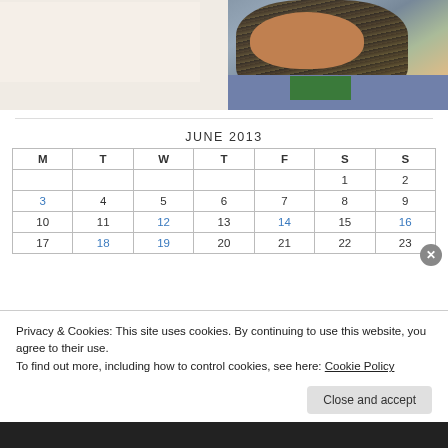[Figure (photo): Partial view of a woman with long braids taking a selfie in a car, wearing a blue jacket and green scarf]
| M | T | W | T | F | S | S |
| --- | --- | --- | --- | --- | --- | --- |
|  |  |  |  |  | 1 | 2 |
| 3 | 4 | 5 | 6 | 7 | 8 | 9 |
| 10 | 11 | 12 | 13 | 14 | 15 | 16 |
| 17 | 18 | 19 | 20 | 21 | 22 | 23 |
Privacy & Cookies: This site uses cookies. By continuing to use this website, you agree to their use.
To find out more, including how to control cookies, see here: Cookie Policy